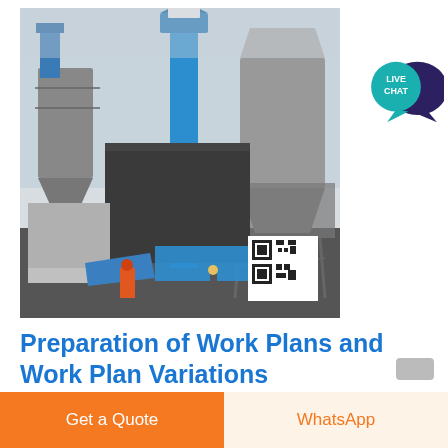[Figure (photo): Industrial facility photo showing a dry mortar or cement mixing plant with blue elevator conveyors, large silos, metal framework structures, and a worker visible at the base. A QR code is visible in the lower right of the image.]
Preparation of Work Plans and Work Plan Variations
Get a Quote
WhatsApp